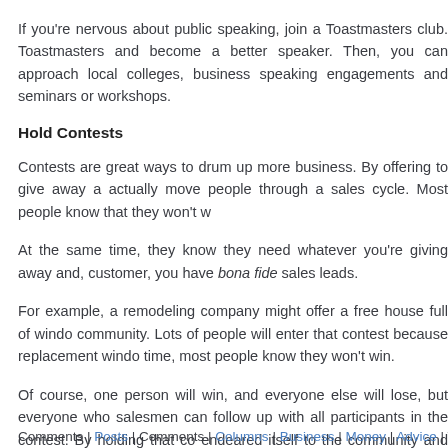If you're nervous about public speaking, join a Toastmasters club. Toastmasters and become a better speaker. Then, you can approach local colleges, business speaking engagements and seminars or workshops.
Hold Contests
Contests are great ways to drum up more business. By offering to give away a actually move people through a sales cycle. Most people know that they won't w
At the same time, they know they need whatever you're giving away and, customer, you have bona fide sales leads.
For example, a remodeling company might offer a free house full of windo community. Lots of people will enter that contest because replacement windo time, most people know they won't win.
Of course, one person will win, and everyone else will lose, but everyone who salesmen can follow up with all participants in the contest. By holding that co endeared itself to the community and also made money on the sale of its produ
Loretta Milliner has spent a good part of her working life in a marketing role. She observations with a wider audience online. You can find her previous posts on a
Comments | Posts | Comments | Columns | Business | Money | Advice | To